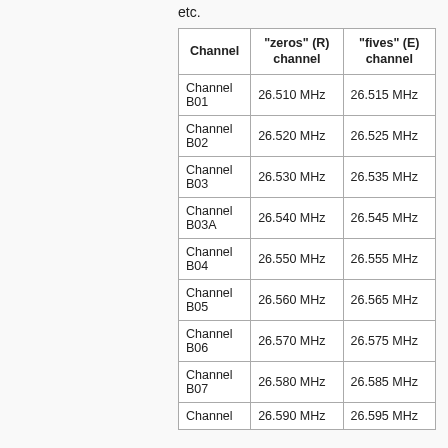etc.
| Channel | "zeros" (R) channel | "fives" (E) channel |
| --- | --- | --- |
| Channel B01 | 26.510 MHz | 26.515 MHz |
| Channel B02 | 26.520 MHz | 26.525 MHz |
| Channel B03 | 26.530 MHz | 26.535 MHz |
| Channel B03A | 26.540 MHz | 26.545 MHz |
| Channel B04 | 26.550 MHz | 26.555 MHz |
| Channel B05 | 26.560 MHz | 26.565 MHz |
| Channel B06 | 26.570 MHz | 26.575 MHz |
| Channel B07 | 26.580 MHz | 26.585 MHz |
| Channel B08 | 26.590 MHz | 26.595 MHz |